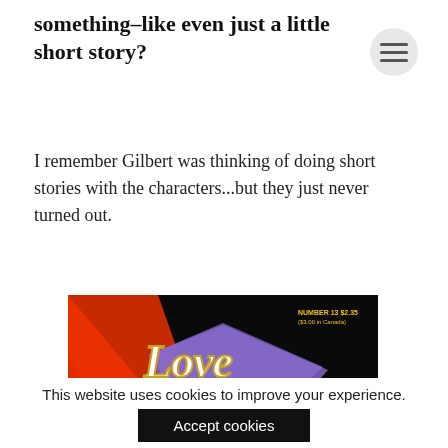something–like even just a little short story?
I remember Gilbert was thinking of doing short stories with the characters...but they just never turned out.
[Figure (photo): Cover of Love and Rockets comic book, Number 13. Black background with stylized cursive 'Love' in gold/white lettering above large bold 'AND ROCKETS' text in white with purple geometric design. Red and orange shapes visible in lower left. Yellow circle at bottom right. 'Recommended For Mature Readers' text in lower right. Price listed as NUMBER 13 $2.35 ($3.00 in Canada).]
This website uses cookies to improve your experience.
Accept cookies